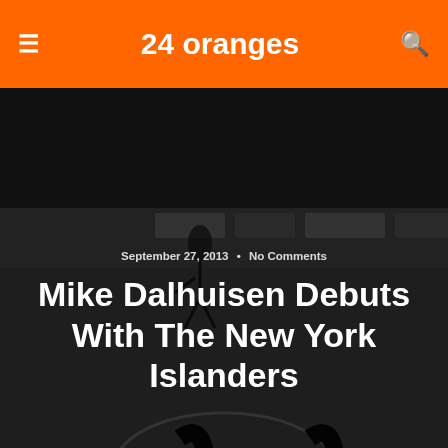24 oranges
September 27, 2013 • No Comments
Mike Dalhuisen Debuts With The New York Islanders
Share  Tweet  Pin  Mail  SMS
[Figure (photo): Black and white photograph of hockey players on an ice rink during a New York Islanders practice or preseason game, with NHL.com, Pepsi, KALEIDA, and HSBC advertising boards visible in the background]
[Figure (photo): Second black and white photograph of hockey players on ice rink, same venue, showing players skating with sticks, same rink boards visible]